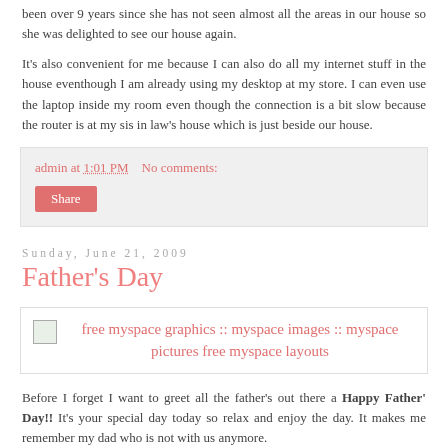been over 9 years since she has not seen almost all the areas in our house so she was delighted to see our house again.
It's also convenient for me because I can also do all my internet stuff in the house eventhough I am already using my desktop at my store. I can even use the laptop inside my room even though the connection is a bit slow because the router is at my sis in law's house which is just beside our house.
admin at 1:01 PM    No comments:
Share
Sunday, June 21, 2009
Father's Day
[Figure (illustration): Broken image placeholder with link text: free myspace graphics :: myspace images :: myspace pictures free myspace layouts]
Before I forget I want to greet all the father's out there a Happy Father' Day!! It's your special day today so relax and enjoy the day. It makes me remember my dad who is not with us anymore.